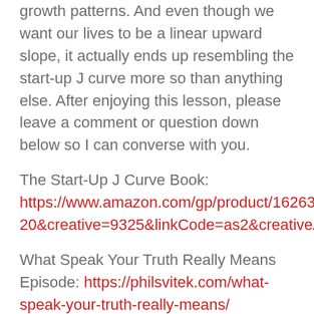growth patterns. And even though we want our lives to be a linear upward slope, it actually ends up resembling the start-up J curve more so than anything else. After enjoying this lesson, please leave a comment or question down below so I can converse with you.
The Start-Up J Curve Book: https://www.amazon.com/gp/product/162634ie=UTF8&tag=philsvitek-20&creative=9325&linkCode=as2&creativeASI
What Speak Your Truth Really Means Episode: https://philsvitek.com/what-speak-your-truth-really-means/